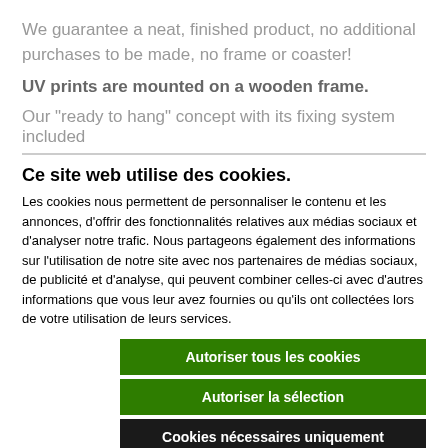We guarantee a neat, finished product, no additional purchases to be made, no frame or coaster!
UV prints are mounted on a wooden frame.
Our “ready to hang” concept with its fixing system included
Ce site web utilise des cookies.
Les cookies nous permettent de personnaliser le contenu et les annonces, d’offrir des fonctionnalités relatives aux médias sociaux et d’analyser notre trafic. Nous partageons également des informations sur l'utilisation de notre site avec nos partenaires de médias sociaux, de publicité et d’analyse, qui peuvent combiner celles-ci avec d’autres informations que vous leur avez fournies ou qu'ils ont collectées lors de votre utilisation de leurs services.
Autoriser tous les cookies
Autoriser la sélection
Cookies nécessaires uniquement
Nécessaires  Préférences  Statistiques  Marketing  Afficher les détails